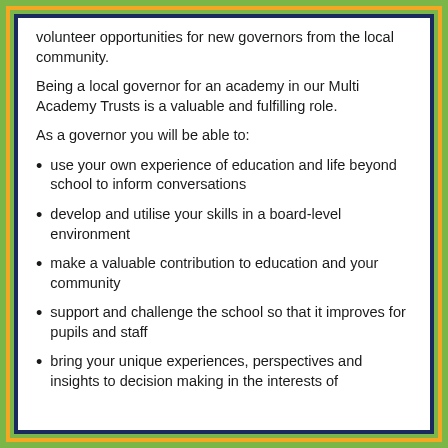volunteer opportunities for new governors from the local community.
Being a local governor for an academy in our Multi Academy Trusts is a valuable and fulfilling role.
As a governor you will be able to:
use your own experience of education and life beyond school to inform conversations
develop and utilise your skills in a board-level environment
make a valuable contribution to education and your community
support and challenge the school so that it improves for pupils and staff
bring your unique experiences, perspectives and insights to decision making in the interests of